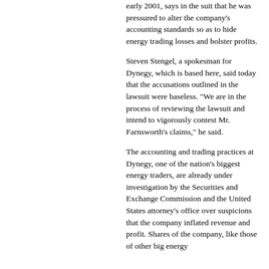early 2001, says in the suit that he was pressured to alter the company's accounting standards so as to hide energy trading losses and bolster profits.
Steven Stengel, a spokesman for Dynegy, which is based here, said today that the accusations outlined in the lawsuit were baseless. "We are in the process of reviewing the lawsuit and intend to vigorously contest Mr. Farnsworth's claims," he said.
The accounting and trading practices at Dynegy, one of the nation's biggest energy traders, are already under investigation by the Securities and Exchange Commission and the United States attorney's office over suspicions that the company inflated revenue and profit. Shares of the company, like those of other big energy